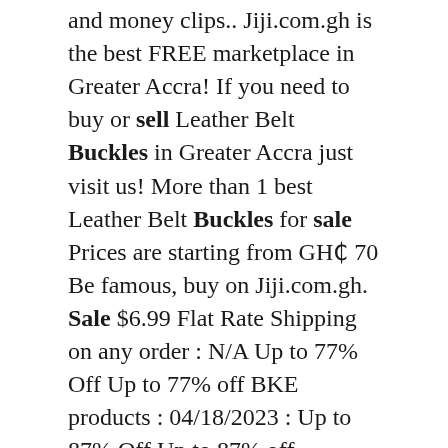and money clips.. Jiji.com.gh is the best FREE marketplace in Greater Accra! If you need to buy or sell Leather Belt Buckles in Greater Accra just visit us! More than 1 best Leather Belt Buckles for sale Prices are starting from GH₵ 70 Be famous, buy on Jiji.com.gh. Sale $6.99 Flat Rate Shipping on any order : N/A Up to 77% Off Up to 77% off BKE products : 04/18/2023 : Up to 87% Off Up to 87% off Women's Sale Items : N/A 50% Off Extra 50% off select Men's & Women's Styles : 08/08/2022. Shop Buckle for great sales on jeans, shoes, and accessories. Find all your favorite designer brands up to 50% off! Women's sale jeans. Men's sale jeans. Kid's sale clothing. Sale shoes. Sale accessories. Shop the collection of fine watch straps from Crown & Buckle. Leather and nylon NATO strap styles, plus exclusive Chevron™ straps. The store will not